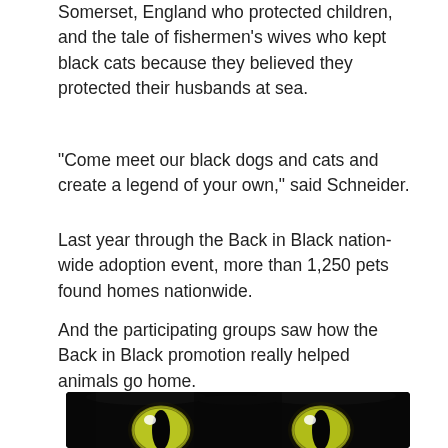Somerset, England who protected children, and the tale of fishermen’s wives who kept black cats because they believed they protected their husbands at sea.
“Come meet our black dogs and cats and create a legend of your own,” said Schneider.
Last year through the Back in Black nation-wide adoption event, more than 1,250 pets found homes nationwide.
And the participating groups saw how the Back in Black promotion really helped animals go home.
[Figure (photo): Close-up photo of a black cat's face showing its two bright yellow-green eyes against black fur, cropped at the top of the page.]